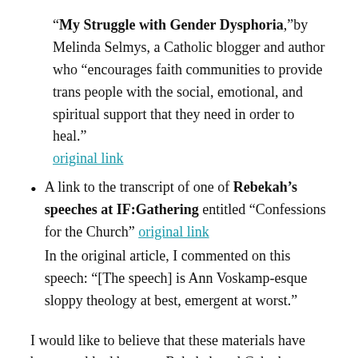“My Struggle with Gender Dysphoria,” by Melinda Selmys, a Catholic blogger and author who “encourages faith communities to provide trans people with the social, emotional, and spiritual support that they need in order to heal.” original link
A link to the transcript of one of Rebekah’s speeches at IF:Gathering entitled “Confessions for the Church” original link
In the original article, I commented on this speech: “[The speech] is Ann Voskamp-esque sloppy theology at best, emergent at worst.”
I would like to believe that these materials have been scrubbed because Rebekah and Gabe have repented of these unbiblical teachings and have begun to teach sound doctrine, but the evidence of their continued false teaching, ties to false teachers